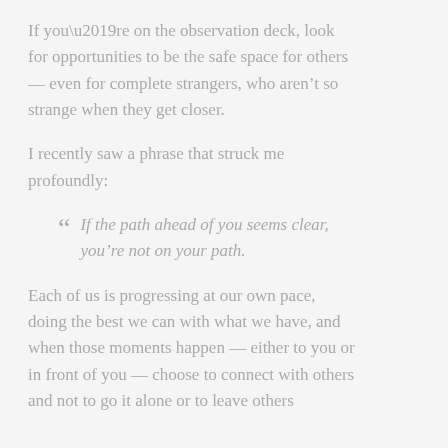If you’re on the observation deck, look for opportunities to be the safe space for others — even for complete strangers, who aren’t so strange when they get closer.
I recently saw a phrase that struck me profoundly:
“ If the path ahead of you seems clear, you’re not on your path.
Each of us is progressing at our own pace, doing the best we can with what we have, and when those moments happen — either to you or in front of you — choose to connect with others and not to go it alone or to leave others